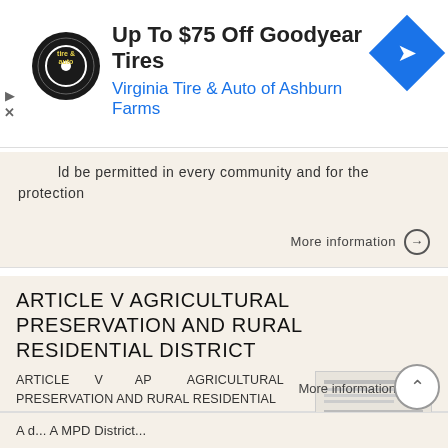[Figure (other): Advertisement banner: Up To $75 Off Goodyear Tires - Virginia Tire & Auto of Ashburn Farms, with tire logo and navigation icon]
ld be permitted in every community and for the protection
More information →
ARTICLE V AGRICULTURAL PRESERVATION AND RURAL RESIDENTIAL DISTRICT
ARTICLE V AP AGRICULTURAL PRESERVATION AND RURAL RESIDENTIAL DISTRICT Section 500. PURPOSE It is the purpose of the AP, Agricultural Preservation and Rural Residential District, to foster the preservation
More information →
A d... A MPD District...